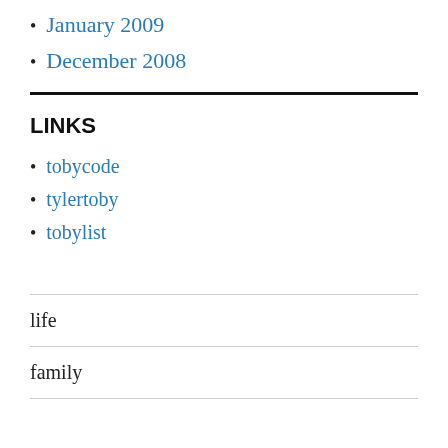January 2009
December 2008
LINKS
tobycode
tylertoby
tobylist
life
family